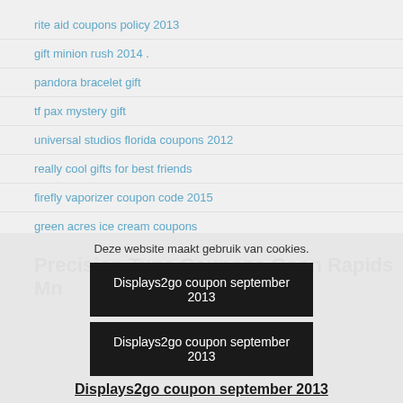rite aid coupons policy 2013
gift minion rush 2014 .
pandora bracelet gift
tf pax mystery gift
universal studios florida coupons 2012
really cool gifts for best friends
firefly vaporizer coupon code 2015
green acres ice cream coupons
Precision Tune Coupons Coon Rapids Mn
Deze website maakt gebruik van cookies.
Displays2go coupon september 2013
Displays2go coupon september 2013
Displays2go coupon september 2013